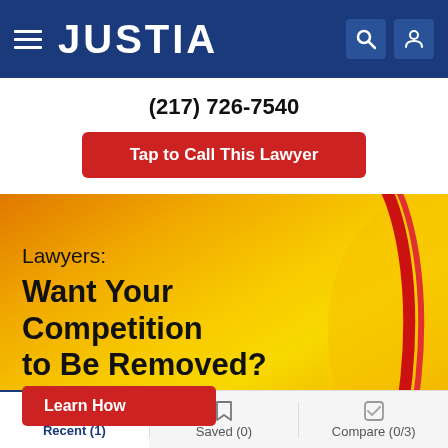JUSTIA
(217) 726-7540
Tap to Call This Lawyer
[Figure (illustration): Justia advertisement banner with yellow/orange gradient background and red decorative curve. Text reads: Lawyers: Want Your Competition to Be Removed? with a Learn How button.]
Recent (1)   Saved (0)   Compare (0/3)